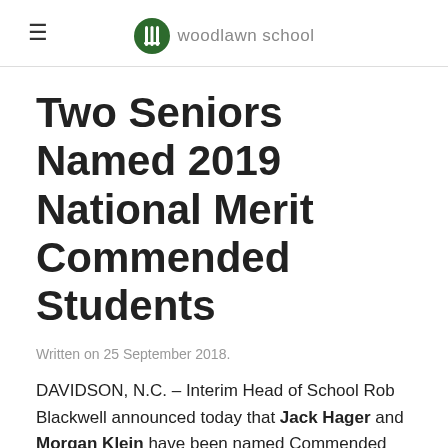woodlawn school
Two Seniors Named 2019 National Merit Commended Students
Written on 25 September 2018.
DAVIDSON, N.C. – Interim Head of School Rob Blackwell announced today that Jack Hager and Morgan Klein have been named Commended Students in the 2019 National Merit Scholarship Program. A Letter of Commendation from the school and National Merit Scholarship Corporation (NMSC),